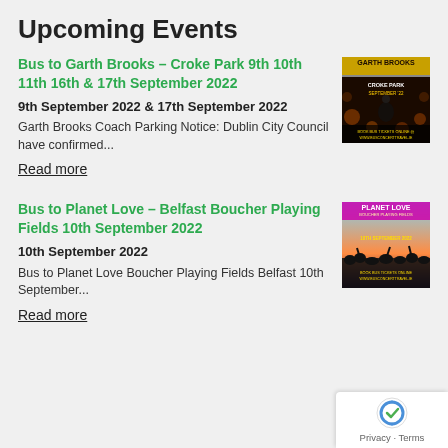Upcoming Events
Bus to Garth Brooks – Croke Park 9th 10th 11th 16th & 17th September 2022
9th September 2022 & 17th September 2022
Garth Brooks Coach Parking Notice: Dublin City Council have confirmed...
Read more
[Figure (photo): Garth Brooks Croke Park September 2022 promotional poster with text about booking bus tickets online]
Bus to Planet Love – Belfast Boucher Playing Fields 10th September 2022
10th September 2022
Bus to Planet Love Boucher Playing Fields Belfast 10th September...
Read more
[Figure (photo): Planet Love Boucher Playing Fields Belfast 10th September 2022 promotional poster]